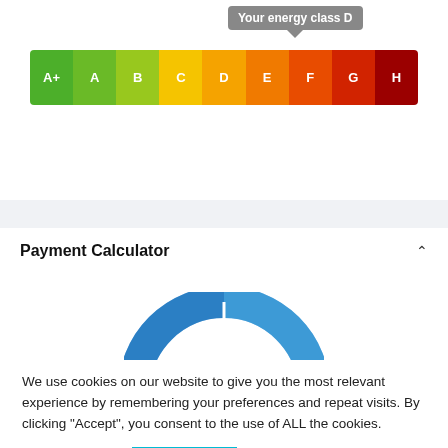[Figure (infographic): Energy efficiency class bar with classes A+ through H. A tooltip bubble above says 'Your energy class D'. The bar is color-coded from green (A+) to dark red (H).]
Payment Calculator
[Figure (infographic): Semi-circular gauge chart showing £656.61 in blue.]
We use cookies on our website to give you the most relevant experience by remembering your preferences and repeat visits. By clicking "Accept", you consent to the use of ALL the cookies.
Cookie settings
ACCEPT